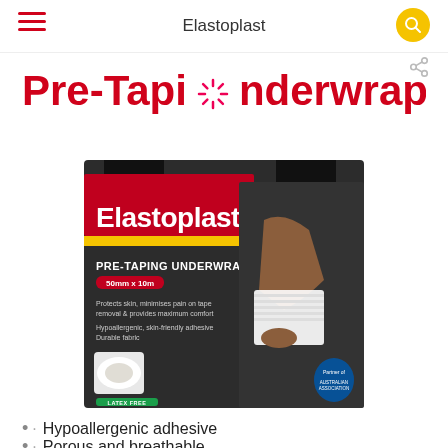Elastoplast
Pre-Taping Underwrap
[Figure (photo): Elastoplast Pre-Taping Underwrap product box (50mm x 10m) on dark background, showing the product label with 'Elastoplast' branding, PRE-TAPING UNDERWRAP text, size label in red, bullet features: protects skin, minimises pain on tape removal & provides maximum comfort; hypoallergenic, skin-friendly adhesive; durable fabric; LATEX FREE badge in green. Right side shows a hand wrapping white tape around a person's knee.]
Hypoallergenic adhesive
Porous and breathable